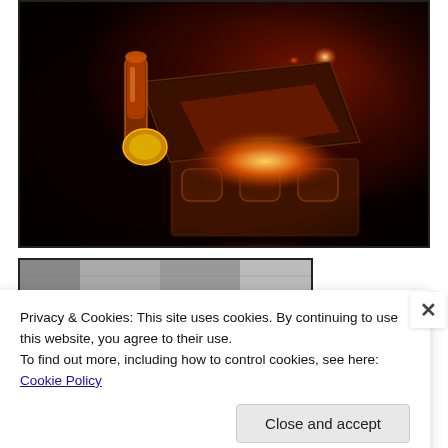[Figure (photo): A glowing treasure chest open in the dark, emitting bright orange-white light from inside, with red and amber tones filling the background. The ornate box has decorative panels.]
[Figure (photo): Partial view of a second image, mostly obscured by the cookie consent banner. Shows a grey/textured surface.]
Privacy & Cookies: This site uses cookies. By continuing to use this website, you agree to their use.
To find out more, including how to control cookies, see here: Cookie Policy
Close and accept